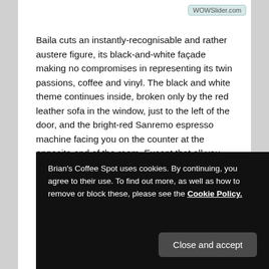WOWSlider.com
Baila cuts an instantly-recognisable and rather austere figure, its black-and-white façade making no compromises in representing its twin passions, coffee and vinyl. The black and white theme continues inside, broken only by the red leather sofa in the window, just to the left of the door, and the bright-red Sanremo espresso machine facing you on the counter at the opposite end of the room. Except that all you can see is the Sanremo's back, a single, burnished sheet of metal, forming an effective mirror. It is, however, red. I promise.
The layout is simple: a long, low rectangle stretching back
Brian's Coffee Spot uses cookies. By continuing, you agree to their use. To find out more, as well as how to remove or block these, please see the Cookie Policy.